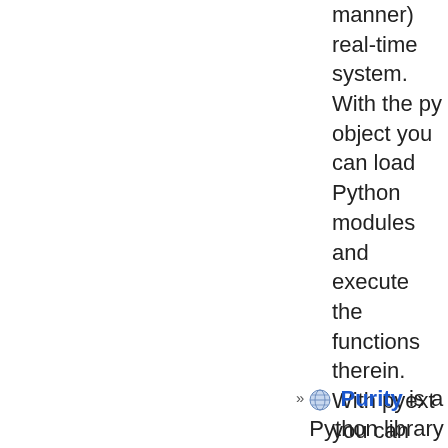manner) real-time system. With the py object you can load Python modules and execute the functions therein. With pyext you can use Python classes to represent full-featured pd/Max message objects. Multithreading (detached methods) is supported for both objects. You can send messages to named objects or receive (with pyext) with Python methods.
Purity is a Python library for Pure Data dynamic patching. The idea is to build...